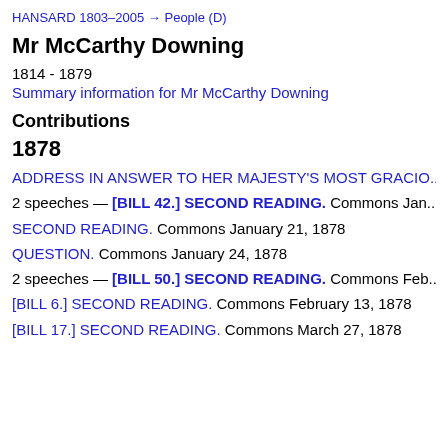HANSARD 1803–2005 → People (D)
Mr McCarthy Downing
1814 - 1879
Summary information for Mr McCarthy Downing
Contributions
1878
ADDRESS IN ANSWER TO HER MAJESTY'S MOST GRACIO...
2 speeches — [BILL 42.] SECOND READING. Commons Jan...
SECOND READING. Commons January 21, 1878
QUESTION. Commons January 24, 1878
2 speeches — [BILL 50.] SECOND READING. Commons Feb...
[BILL 6.] SECOND READING. Commons February 13, 1878
[BILL 17.] SECOND READING. Commons March 27, 1878